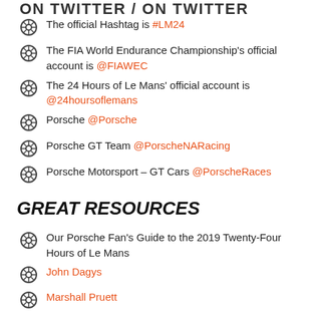ON TWITTER / ON TWITTER
The official Hashtag is #LM24
The FIA World Endurance Championship's official account is @FIAWEC
The 24 Hours of Le Mans' official account is @24hoursoflemans
Porsche @Porsche
Porsche GT Team @PorscheNARacing
Porsche Motorsport – GT Cars @PorscheRaces
GREAT RESOURCES
Our Porsche Fan's Guide to the 2019 Twenty-Four Hours of Le Mans
John Dagys
Marshall Pruett
Shea Adam